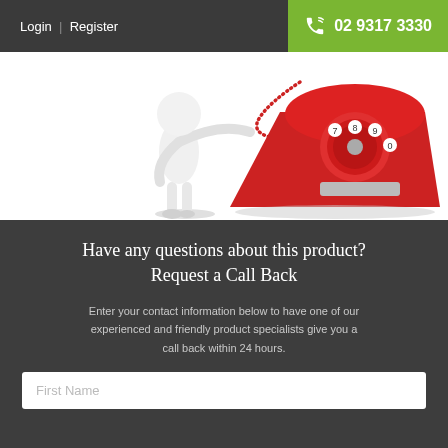Login  |  Register    02 9317 3330
[Figure (illustration): 3D white figure standing next to a classic red rotary telephone on a white background]
Have any questions about this product? Request a Call Back
Enter your contact information below to have one of our experienced and friendly product specialists give you a call back within 24 hours.
First Name